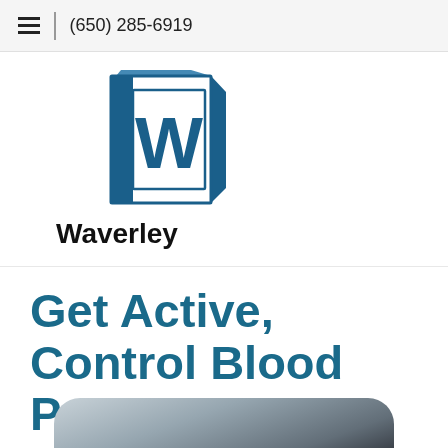(650) 285-6919
[Figure (logo): Waverley Surgery Center logo — a blue 3D cube shape with 'W' in a square box and text 'SURGERY CENTER' on the left side. Below the logo the word 'Waverley' in bold black text.]
Get Active, Control Blood Pressure
[Figure (photo): Partially visible photo of a person, blurred, showing the top of a head, appearing to be in a clinical or gym setting.]